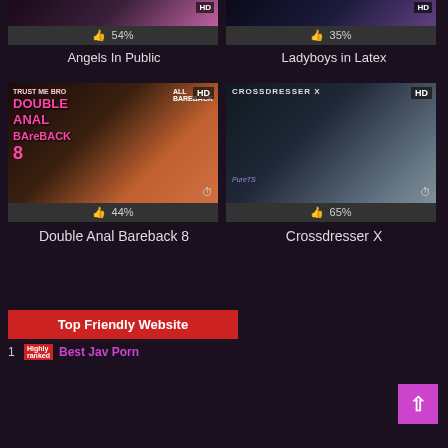[Figure (screenshot): Two video thumbnails at top: left shows 54% rating for 'Angels In Public', right shows 35% rating for 'Ladyboys in Latex']
Angels In Public
Ladyboys in Latex
[Figure (screenshot): Two video thumbnails: left is 'Double Anal Bareback 8' with HD badge and 44% rating, right is 'Crossdresser X' with HD badge and 65% rating]
Double Anal Bareback 8
Crossdresser X
Top Friendly Website
1 Best Jav Porn